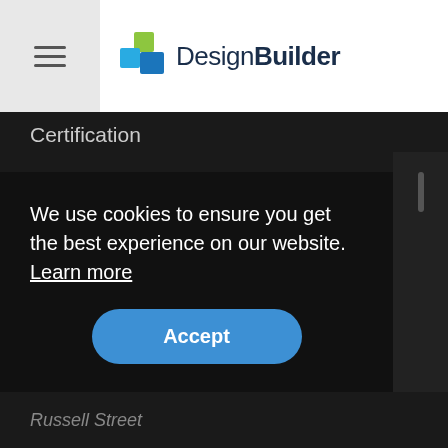[Figure (logo): DesignBuilder logo with green and blue stacked square icon and text 'DesignBuilder' in dark navy]
Certification
Simulation
Daylighting
HVAC
Cost
LEED
Optimisation
CFD
Scripting
We use cookies to ensure you get the best experience on our website. Learn more
Accept
Russell Street